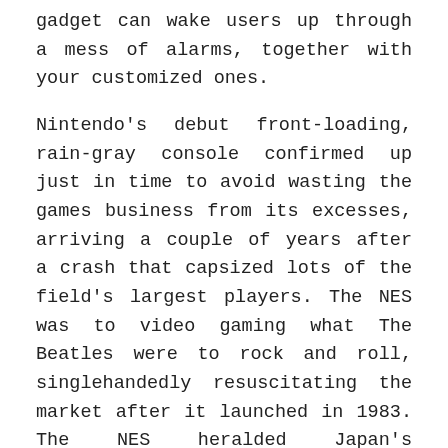gadget can wake users up through a mess of alarms, together with your customized ones.
Nintendo's debut front-loading, rain-gray console confirmed up just in time to avoid wasting the games business from its excesses, arriving a couple of years after a crash that capsized lots of the field's largest players. The NES was to video gaming what The Beatles were to rock and roll, singlehandedly resuscitating the market after it launched in 1983. The NES heralded Japan's dominance of the business, establishing indelible interface and sport design concepts so archetypal you can find their DNA in each home console hence. [newline]We right here just present a few examples of those animations within the form of heavily size-